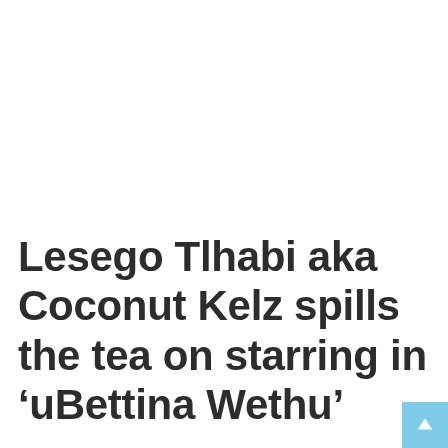Lesego Tlhabi aka Coconut Kelz spills the tea on starring in ‘uBettina Wethu’